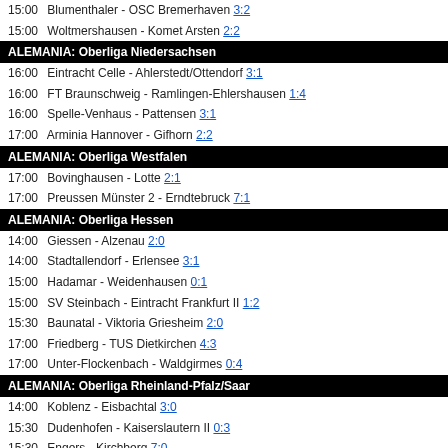15:00  Blumenthaler - OSC Bremerhaven 3:2
15:00  Woltmershausen - Komet Arsten 2:2
ALEMANIA: Oberliga Niedersachsen
16:00  Eintracht Celle - Ahlerstedt/Ottendorf 3:1
16:00  FT Braunschweig - Ramlingen-Ehlershausen 1:4
16:00  Spelle-Venhaus - Pattensen 3:1
17:00  Arminia Hannover - Gifhorn 2:2
ALEMANIA: Oberliga Westfalen
17:00  Bovinghausen - Lotte 2:1
17:00  Preussen Münster 2 - Erndtebruck 7:1
ALEMANIA: Oberliga Hessen
14:00  Giessen - Alzenau 2:0
14:00  Stadtallendorf - Erlensee 3:1
15:00  Hadamar - Weidenhausen 0:1
15:00  SV Steinbach - Eintracht Frankfurt II 1:2
15:30  Baunatal - Viktoria Griesheim 2:0
17:00  Friedberg - TUS Dietkirchen 4:3
17:00  Unter-Flockenbach - Waldgirmes 0:4
ALEMANIA: Oberliga Rheinland-Pfalz/Saar
14:00  Koblenz - Eisbachtal 3:0
15:30  Dudenhofen - Kaiserslautern II 0:3
15:30  Engers - Kirchberg 7:0
15:30  Hertha Wiesbach - Arminia Ludwigshafen 1:1
ALEMANIA: Oberliga Bayern Nord
11:00  Kornburg - Donaustauf 1:0
14:00  Bamberg - 1. SC Feucht 2:2
14:30  Geesdorf - Cham 1:2